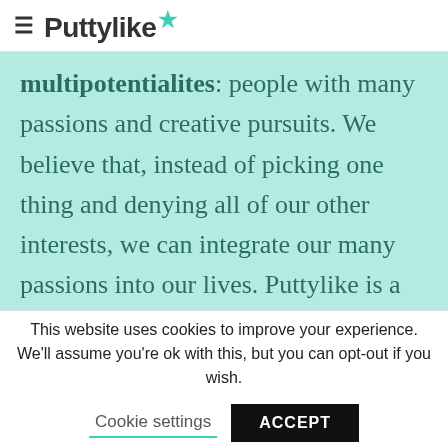≡ Puttylike★
multipotentialites: people with many passions and creative pursuits. We believe that, instead of picking one thing and denying all of our other interests, we can integrate our many passions into our lives. Puttylike is a
This website uses cookies to improve your experience. We'll assume you're ok with this, but you can opt-out if you wish.
Cookie settings   ACCEPT